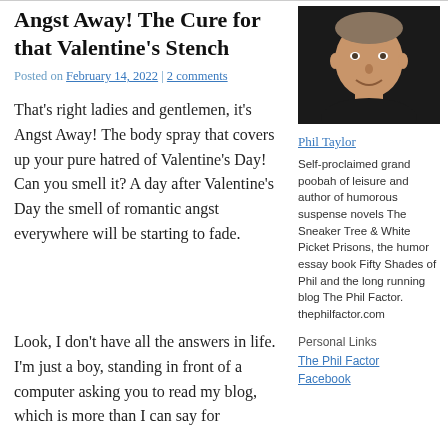Angst Away! The Cure for that Valentine's Stench
Posted on February 14, 2022 | 2 comments
That's right ladies and gentlemen, it's Angst Away! The body spray that covers up your pure hatred of Valentine's Day! Can you smell it? A day after Valentine's Day the smell of romantic angst everywhere will be starting to fade.
[Figure (photo): Headshot photo of Phil Taylor, a man smiling against a dark background]
Phil Taylor
Self-proclaimed grand poobah of leisure and author of humorous suspense novels The Sneaker Tree & White Picket Prisons, the humor essay book Fifty Shades of Phil and the long running blog The Phil Factor. thephilfactor.com
Personal Links
The Phil Factor
Facebook
Look, I don't have all the answers in life. I'm just a boy, standing in front of a computer asking you to read my blog, which is more than I can say for...